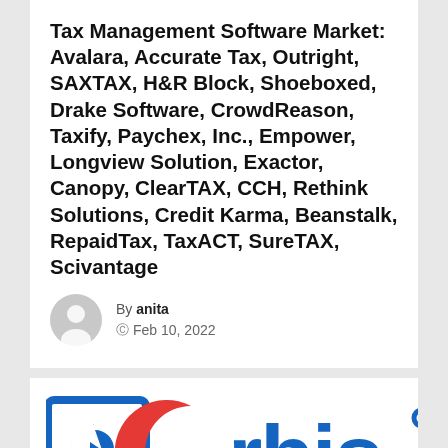Tax Management Software Market: Avalara, Accurate Tax, Outright, SAXTAX, H&R Block, Shoeboxed, Drake Software, CrowdReason, Taxify, Paychex, Inc., Empower, Longview Solution, Exactor, Canopy, ClearTAX, CCH, Rethink Solutions, Credit Karma, Beanstalk, RepaidTax, TaxACT, SureTAX, Scivantage
By anita · Feb 10, 2022
[Figure (logo): Orbis Research logo — blue square bracket enclosing a stylized 'r' icon in blue and red, followed by a large stylized 'C' in red forming part of the word 'Orbis' in blue text]